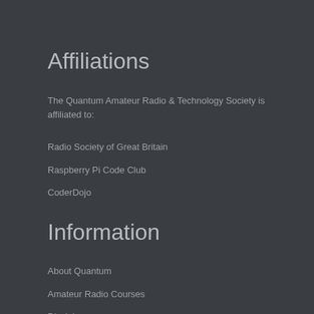Affiliations
The Quantum Amateur Radio & Technology Society is affiliated to:
Radio Society of Great Britain
Raspberry Pi Code Club
CoderDojo
Information
About Quantum
Amateur Radio Courses
Disclaimer
Privacy